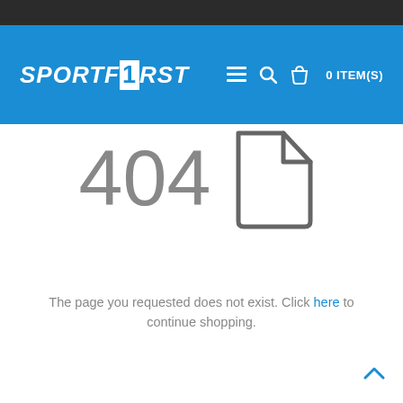SPORTF1RST — navigation header with logo, menu, search, cart (0 ITEM(S))
[Figure (other): 404 error page with large '404' text and a document/file icon]
The page you requested does not exist. Click here to continue shopping.